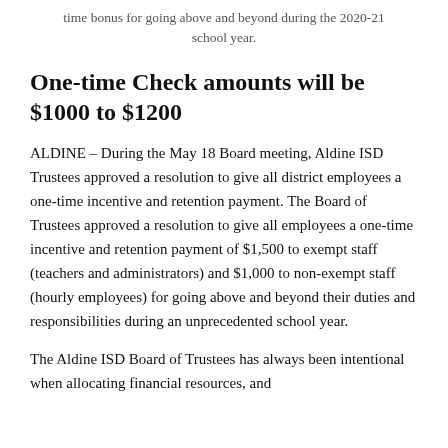time bonus for going above and beyond during the 2020-21 school year.
One-time Check amounts will be $1000 to $1200
ALDINE – During the May 18 Board meeting, Aldine ISD Trustees approved a resolution to give all district employees a one-time incentive and retention payment. The Board of Trustees approved a resolution to give all employees a one-time incentive and retention payment of $1,500 to exempt staff (teachers and administrators) and $1,000 to non-exempt staff (hourly employees) for going above and beyond their duties and responsibilities during an unprecedented school year.
The Aldine ISD Board of Trustees has always been intentional when allocating financial resources, and